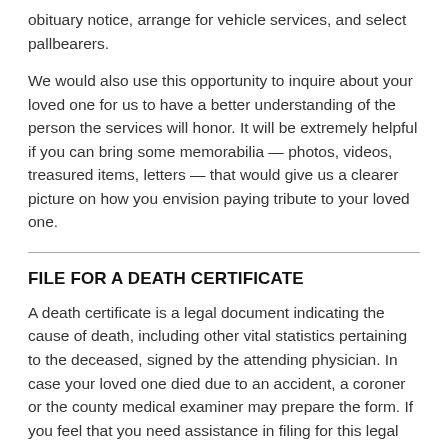obituary notice, arrange for vehicle services, and select pallbearers.
We would also use this opportunity to inquire about your loved one for us to have a better understanding of the person the services will honor. It will be extremely helpful if you can bring some memorabilia — photos, videos, treasured items, letters — that would give us a clearer picture on how you envision paying tribute to your loved one.
FILE FOR A DEATH CERTIFICATE
A death certificate is a legal document indicating the cause of death, including other vital statistics pertaining to the deceased, signed by the attending physician. In case your loved one died due to an accident, a coroner or the county medical examiner may prepare the form. If you feel that you need assistance in filing for this legal document with the state, we can help you. Certified copies of the death